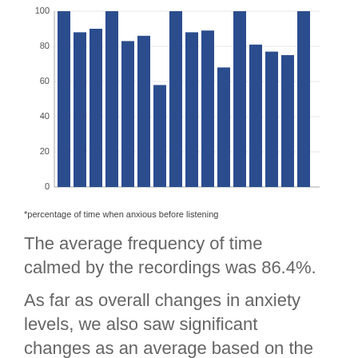[Figure (bar-chart): ]
*percentage of time when anxious before listening
The average frequency of time calmed by the recordings was 86.4%.
As far as overall changes in anxiety levels, we also saw significant changes as an average based on the pre and post tests. In the pre-test, average anxiety was listed at 82 on a